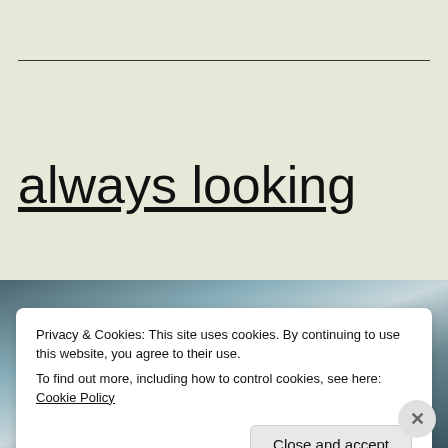always looking
[Figure (photo): Partial photo of a surface with teal/dark tones, partially obscured by a cookie consent banner]
Privacy & Cookies: This site uses cookies. By continuing to use this website, you agree to their use.
To find out more, including how to control cookies, see here: Cookie Policy
Close and accept